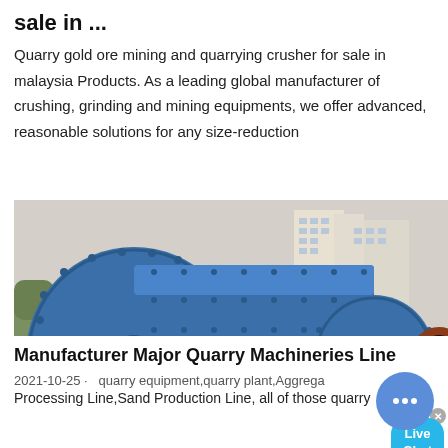sale in ...
Quarry gold ore mining and quarrying crusher for sale in malaysia Products. As a leading global manufacturer of crushing, grinding and mining equipments, we offer advanced, reasonable solutions for any size-reduction
[Figure (photo): A large blue industrial ball mill machine outdoors, with cylindrical drum body mounted on blue steel legs, with a reddish-brown discharge end, buildings visible in background. A 'Live Chat' speech bubble overlay is visible in the upper right.]
Manufacturer Major Quarry Machineries Line
2021-10-25 · quarry equipment,quarry plant,Aggrega Processing Line,Sand Production Line, all of those quarry